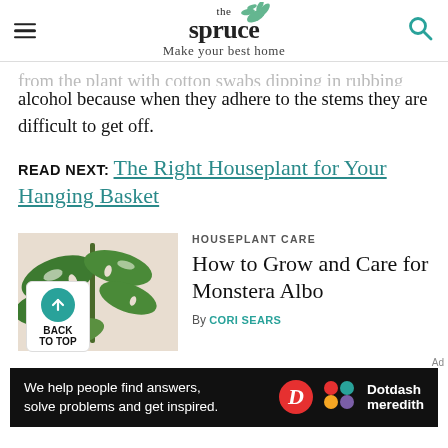the spruce — Make your best home
...from the plant with cotton swabs dipped in rubbing alcohol because when they adhere to the stems they are difficult to get off.
READ NEXT: The Right Houseplant for Your Hanging Basket
[Figure (photo): Photo of a Monstera Albo plant with green and white variegated leaves against a beige background]
HOUSEPLANT CARE
How to Grow and Care for Monstera Albo
By CORI SEARS
We help people find answers, solve problems and get inspired. Dotdash meredith